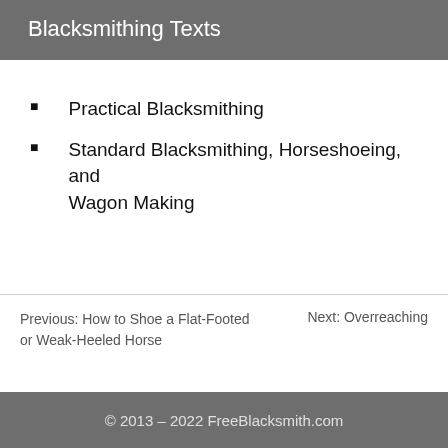Blacksmithing Texts
Practical Blacksmithing
Standard Blacksmithing, Horseshoeing, and Wagon Making
Previous: How to Shoe a Flat-Footed or Weak-Heeled Horse
Next: Overreaching
© 2013 – 2022 FreeBlacksmith.com